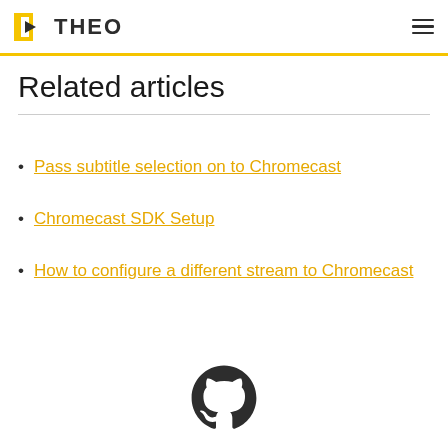THEO
Related articles
Pass subtitle selection on to Chromecast
Chromecast SDK Setup
How to configure a different stream to Chromecast
[Figure (logo): GitHub logo / octocat icon in dark color at the bottom center of the page]